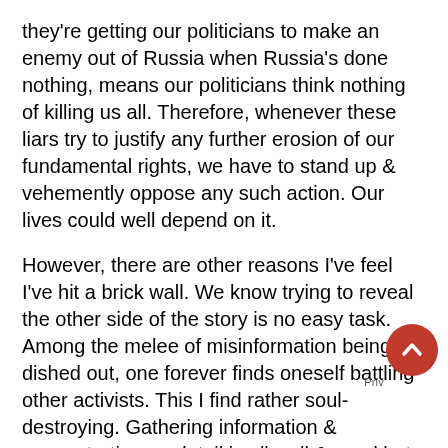they're getting our politicians to make an enemy out of Russia when Russia's done nothing, means our politicians think nothing of killing us all. Therefore, whenever these liars try to justify any further erosion of our fundamental rights, we have to stand up & vehemently oppose any such action. Our lives could well depend on it.
However, there are other reasons I've feel I've hit a brick wall. We know trying to reveal the other side of the story is no easy task. Among the melee of misinformation being dished out, one forever finds oneself battling other activists. This I find rather soul-destroying. Gathering information & concentrating on detail is all well & good but what's the point if one is seriously found wanting when it comes to analytical prowess. If we're to stand any chance we have to be tactically astute. I don't see while I can take the insults & the death threats, being deprived of trying to eek out even a meagre